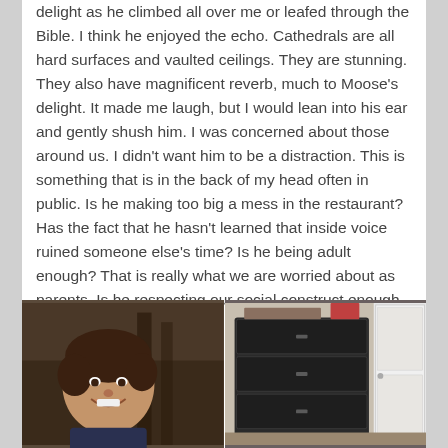delight as he climbed all over me or leafed through the Bible. I think he enjoyed the echo. Cathedrals are all hard surfaces and vaulted ceilings. They are stunning. They also have magnificent reverb, much to Moose’s delight. It made me laugh, but I would lean into his ear and gently shush him. I was concerned about those around us. I didn’t want him to be a distraction. This is something that is in the back of my head often in public. Is he making too big a mess in the restaurant? Has the fact that he hasn’t learned that inside voice ruined someone else’s time? Is he being adult enough? That is really what we are worried about as parents. Is he respecting our social construct enough. Is he being adult enough?
[Figure (photo): Left photo: A smiling toddler with dark curly hair, indoors with dark furniture in background.]
[Figure (photo): Right photo: A dark dresser/chest of drawers against a wall with a white door visible.]